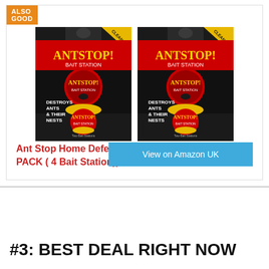ALSO GOOD
[Figure (photo): Two packs of Ant Stop Home Defence Bait Station product packaging, side by side, showing red and black packaging with ant imagery.]
Ant Stop Home Defence - Bait Station Style (2 PACK ( 4 Bait Station))
View on Amazon UK
#3: BEST DEAL RIGHT NOW